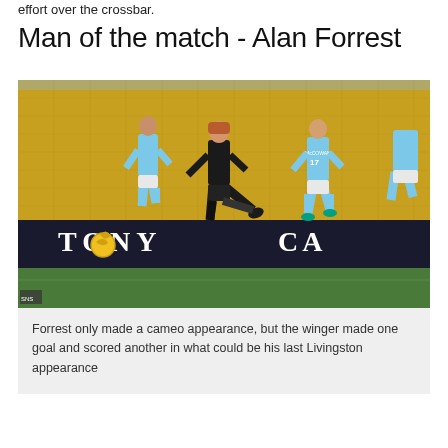effort over the crossbar.
Man of the match - Alan Forrest
[Figure (photo): Football match action photo showing a player in a black kit (Livingston) kicking the ball, surrounded by players in light blue kits (number 17 McGowan visible), in front of yellow stadium seats with a TONY CA advertising board visible]
Forrest only made a cameo appearance, but the winger made one goal and scored another in what could be his last Livingston appearance